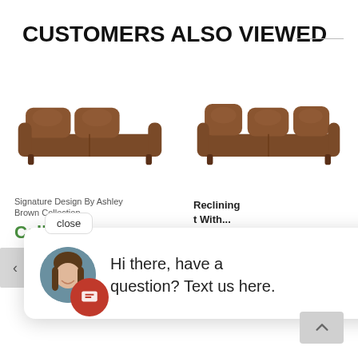CUSTOMERS ALSO VIEWED
[Figure (photo): Brown leather reclining sofa, left product card]
Reclining t With...
Signature Design By Ashley
Brown Collection
Call for Our
[Figure (photo): Brown leather reclining sofa/loveseat, right product card]
Reclining t With...
Signature Design By Ashley
Austere Brown Collection
Call for Our
close
Hi there, have a question? Text us here.